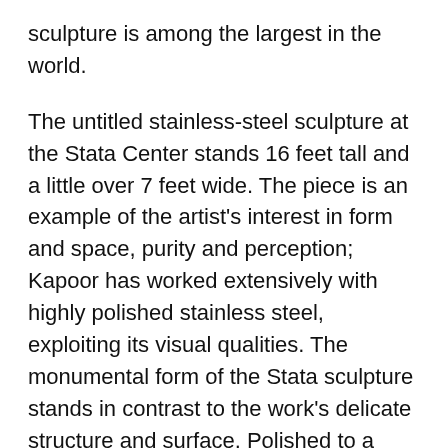sculpture is among the largest in the world.
The untitled stainless-steel sculpture at the Stata Center stands 16 feet tall and a little over 7 feet wide. The piece is an example of the artist's interest in form and space, purity and perception; Kapoor has worked extensively with highly polished stainless steel, exploiting its visual qualities. The monumental form of the Stata sculpture stands in contrast to the work's delicate structure and surface. Polished to a mirror finish, the piece provides a striking counterpoint to the building's Frank Gehry architecture, with its undulating waves and reflective surfaces, metal cladding, swooping stairway, and eccentric forms. The highly reflective and curved surface produces rich visual effects when animated